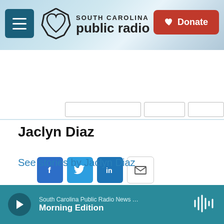South Carolina Public Radio — Donate
[Figure (logo): South Carolina Public Radio logo with hamburger menu button and Donate button]
[Figure (infographic): Navigation tabs strip with three tab placeholders]
[Figure (infographic): Social share buttons: Facebook, Twitter, LinkedIn, Email]
Jaclyn Diaz
See stories by Jaclyn Diaz
South Carolina Public Radio News … Morning Edition